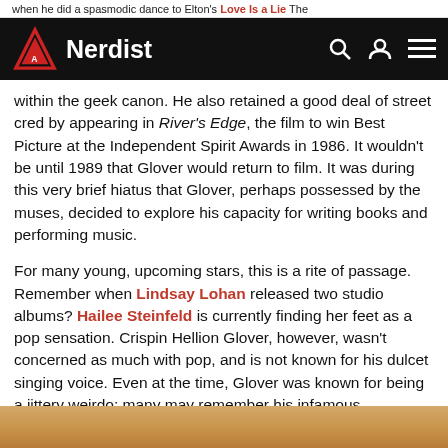when he did a spasmodic dance to Elton's Love Is a Lie The
Nerdist [navigation bar with logo, search, account, menu icons]
within the geek canon. He also retained a good deal of street cred by appearing in River's Edge, the film to win Best Picture at the Independent Spirit Awards in 1986. It wouldn't be until 1989 that Glover would return to film. It was during this very brief hiatus that Glover, perhaps possessed by the muses, decided to explore his capacity for writing books and performing music.
For many young, upcoming stars, this is a rite of passage. Remember when Lindsay Lohan released two studio albums? Hailee Steinfeld is currently finding her feet as a pop sensation. Crispin Hellion Glover, however, wasn't concerned as much with pop, and is not known for his dulcet singing voice. Even at the time, Glover was known for being a jittery weirdo; many may remember his infamous appearance on Late Night with David Letterman when he appeared as his fictional character Rubin Farr, answering every question with a non-sequitur. Rubin Farr was to eventually appear in 1991's Rubin and Ed. In 1987, it made no sense.
[Figure (photo): Bottom portion of a photo showing a person, cropped at the bottom of the page.]